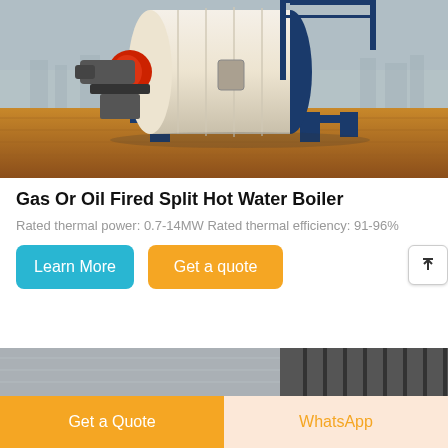[Figure (photo): Industrial gas or oil fired split hot water boiler, large white cylindrical vessel with blue metal frame, red burner unit on left side, set against an outdoor industrial background with wooden flooring and city skyline.]
Gas Or Oil Fired Split Hot Water Boiler
Rated thermal power: 0.7-14MW Rated thermal efficiency: 91-96%
Learn More | Get a quote
[Figure (photo): Partial view of another industrial boiler or equipment, cropped at bottom of page.]
Get a Quote   WhatsApp